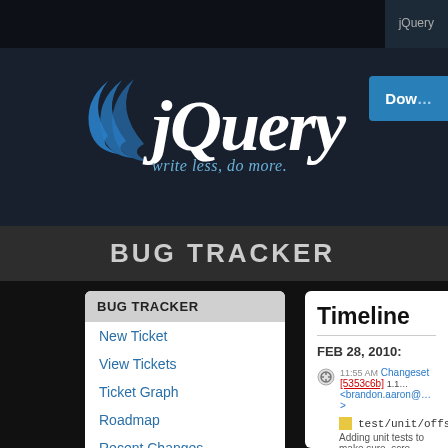jQuery
[Figure (logo): jQuery logo with blue arc/swoosh icon and white italic bold jQuery text, tagline: write less, do more.]
BUG TRACKER
BUG TRACKER
New Ticket
View Tickets
Ticket Graph
Roadmap
Recent Changes
TRACKER ACCOUNT
Timeline
FEB 28, 2010:
11:55 AM Changeset [5353c6b] 1.1... <brandon.aaron@...>
test/unit/offset.js
Adding unit tests to make sure .scro...